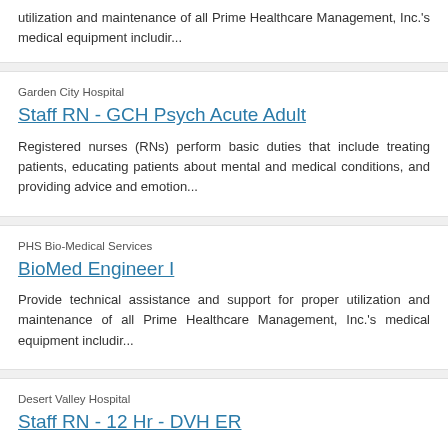utilization and maintenance of all Prime Healthcare Management, Inc.'s medical equipment includir...
Garden City Hospital
Staff RN - GCH Psych Acute Adult
Registered nurses (RNs) perform basic duties that include treating patients, educating patients about mental and medical conditions, and providing advice and emotion...
PHS Bio-Medical Services
BioMed Engineer I
Provide technical assistance and support for proper utilization and maintenance of all Prime Healthcare Management, Inc.'s medical equipment includir...
Desert Valley Hospital
Staff RN - 12 Hr - DVH ER
The Registered Nurse is responsible for the delivery of safe